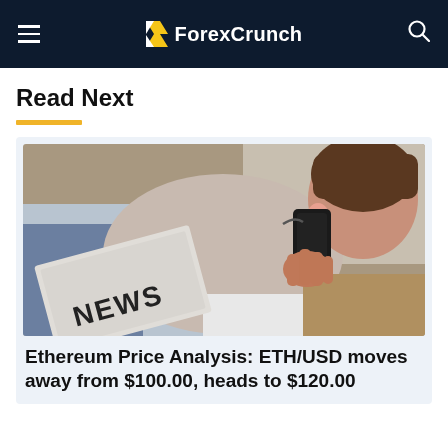ForexCrunch
Read Next
[Figure (photo): Person holding a black mobile phone up to their ear, with a folded newspaper showing the word NEWS visible in the background. The photo is used as a thumbnail for a financial news article.]
Ethereum Price Analysis: ETH/USD moves away from $100.00, heads to $120.00